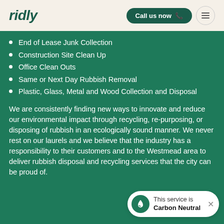[Figure (logo): Ridly company logo in dark teal italic bold text]
[Figure (infographic): Call us now button and hamburger menu button in header]
End of Lease Junk Collection
Construction Site Clean Up
Office Clean Outs
Same or Next Day Rubbish Removal
Plastic, Glass, Metal and Wood Collection and Disposal
We are consistently finding new ways to innovate and reduce our environmental impact through recycling, re-purposing, or disposing of rubbish in an ecologically sound manner. We never rest on our laurels and we believe that the industry has a responsibility to their customers and to the Westmead area to deliver rubbish disposal and recycling services that the city can be proud of.
This service is Carbon Neutral